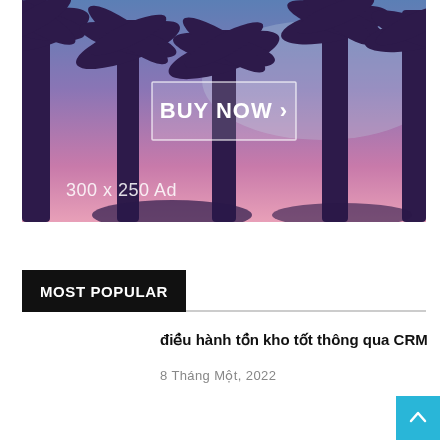[Figure (photo): Advertisement banner showing palm trees against a pink-blue sunset sky with a 'BUY NOW >' button in a white outlined rectangle in the center, and '300 x 250 Ad' text in the lower left.]
MOST POPULAR
điều hành tồn kho tốt thông qua CRM
8 Tháng Một, 2022